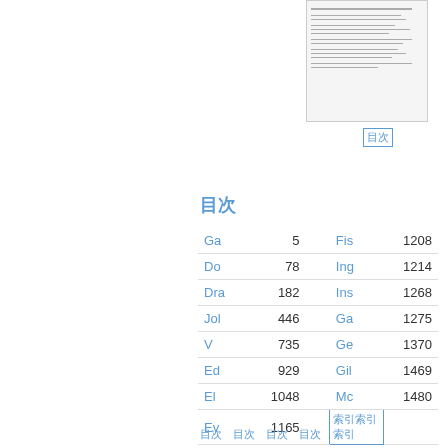[Figure (other): Thumbnail image of a document page]
目次
目次
| Name | Page | Name | Page |
| --- | --- | --- | --- |
| Ga | 5 | Fis | 1208 |
| Do | 78 | Ing | 1214 |
| Dra | 182 | Ins | 1268 |
| Jol | 446 | Ga | 1275 |
| V | 735 | Ge | 1370 |
| Ed | 929 | Gil | 1469 |
| El | 1048 | Mc | 1480 |
| Ev | 1165 | 索引 |  |
| V | 1181 |  |  |